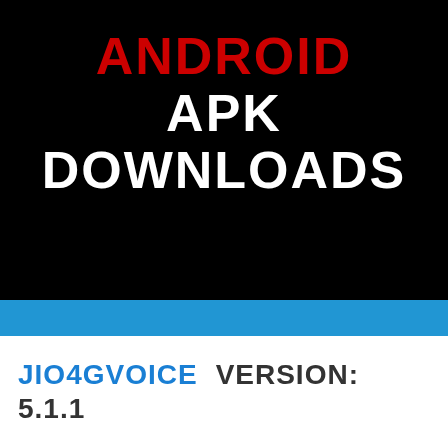ANDROID APK DOWNLOADS
JIO4GVOICE   VERSION: 5.1.1